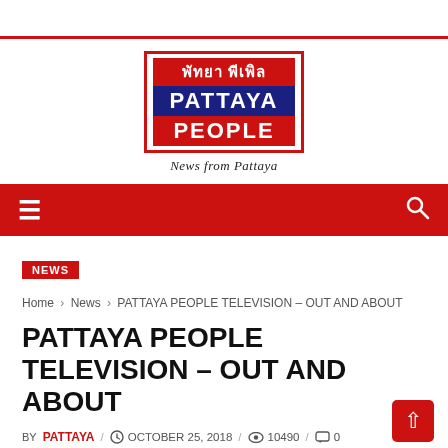[Figure (logo): Pattaya People logo with Thai text, blue PATTAYA text block, red PEOPLE text block, tagline 'News from Pattaya']
Navigation bar with hamburger menu and search icon
NEWS
Home › News › PATTAYA PEOPLE TELEVISION – OUT AND ABOUT
PATTAYA PEOPLE TELEVISION – OUT AND ABOUT
BY PATTAYA / OCTOBER 25, 2018 / 10490 / 0
SHARE: